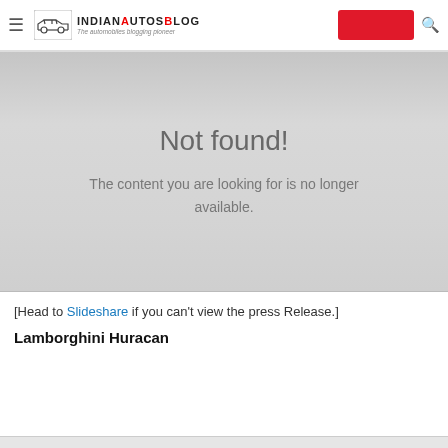IndianAutosBlog — The automobiles blogging pioneer
[Figure (screenshot): 404 Not found error page from IndianAutosBlog with grey gradient background, showing 'Not found!' heading and 'The content you are looking for is no longer available.' message]
[Head to Slideshare if you can't view the press Release.]
Lamborghini Huracan